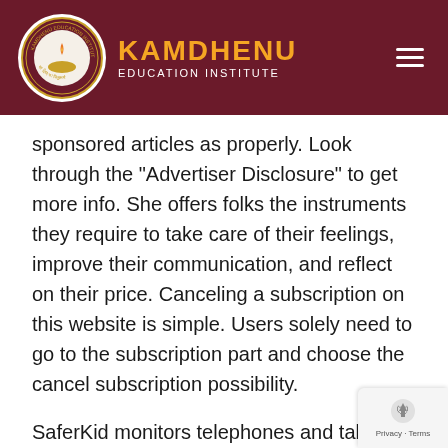KAMDHENU EDUCATION INSTITUTE
sponsored articles as properly. Look through the “Advertiser Disclosure” to get more info. She offers folks the instruments they require to take care of their feelings, improve their communication, and reflect on their price. Canceling a subscription on this website is simple. Users solely need to go to the subscription part and choose the cancel subscription possibility.
SaferKid monitors telephones and tablets to make sure kids aren’t downloading any of over 200,000 unsafe apps. If we discover one, we’ll ship an alert, detailed report and ways to discuss it along with youngster. This website offers information about